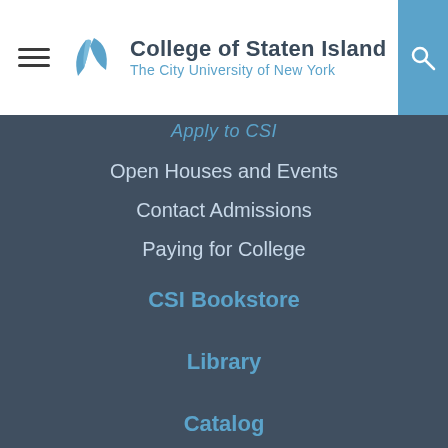College of Staten Island – The City University of New York
Apply to CSI
Open Houses and Events
Contact Admissions
Paying for College
CSI Bookstore
Library
Catalog
CSI Today
Center for the Arts
Athletics